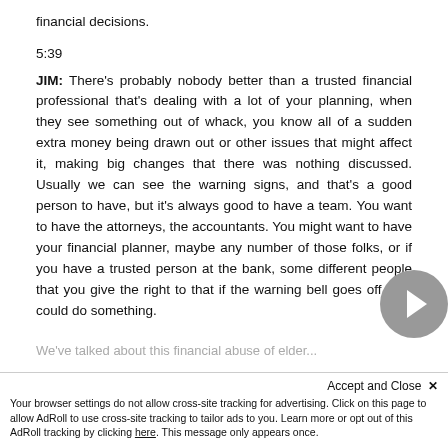financial decisions.
5:39
JIM: There's probably nobody better than a trusted financial professional that's dealing with a lot of your planning, when they see something out of whack, you know all of a sudden extra money being drawn out or other issues that might affect it, making big changes that there was nothing discussed. Usually we can see the warning signs, and that's a good person to have, but it's always good to have a team. You want to have the attorneys, the accountants. You might want to have your financial planner, maybe any number of those folks, or if you have a trusted person at the bank, some different people that you give the right to that if the warning bell goes off they could do something.
We've talked about this financial abuse of elder...
Accept and Close ✕
Your browser settings do not allow cross-site tracking for advertising. Click on this page to allow AdRoll to use cross-site tracking to tailor ads to you. Learn more or opt out of this AdRoll tracking by clicking here. This message only appears once.